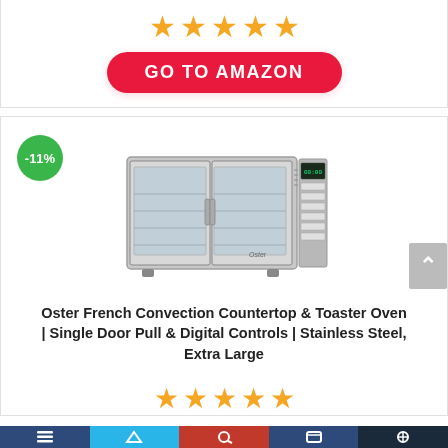[Figure (other): 5 orange/gold star rating icons in a row]
[Figure (other): Red rounded-rectangle button with white text 'GO TO AMAZON']
[Figure (other): Green circular badge with white text '-11%']
[Figure (photo): Oster French Convection Countertop Toaster Oven, stainless steel, french door style with digital controls on right side]
Oster French Convection Countertop & Toaster Oven | Single Door Pull & Digital Controls | Stainless Steel, Extra Large
[Figure (other): 5 orange/gold star rating icons in a row at bottom]
[Figure (other): Bottom navigation bar with social media icons on colored segments]